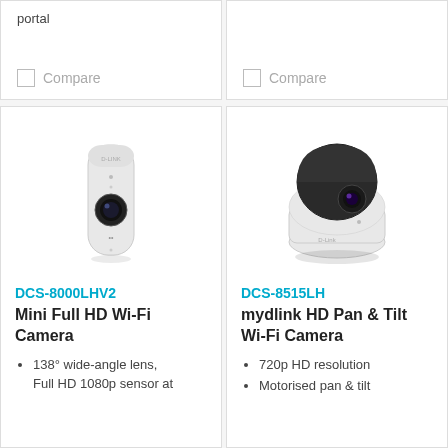portal
Compare
Compare
[Figure (photo): White mini cylindrical Wi-Fi camera (DCS-8000LHV2) with a blue lens on the front]
DCS-8000LHV2
Mini Full HD Wi-Fi Camera
138° wide-angle lens, Full HD 1080p sensor at
[Figure (photo): Black and white dome-shaped HD Pan & Tilt Wi-Fi camera (DCS-8515LH) with a purple lens]
DCS-8515LH
mydlink HD Pan & Tilt Wi-Fi Camera
720p HD resolution
Motorised pan & tilt